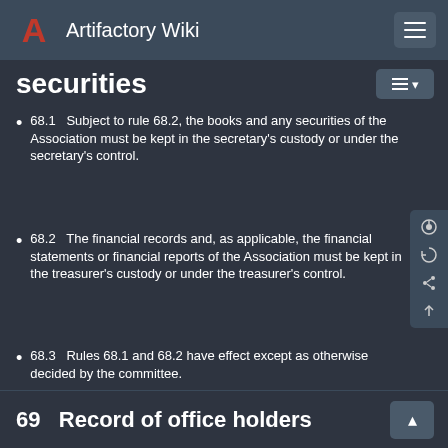Artifactory Wiki
securities
68.1   Subject to rule 68.2, the books and any securities of the Association must be kept in the secretary's custody or under the secretary's control.
68.2   The financial records and, as applicable, the financial statements or financial reports of the Association must be kept in the treasurer's custody or under the treasurer's control.
68.3   Rules 68.1 and 68.2 have effect except as otherwise decided by the committee.
68.4   The books of the Association must be retained for at least 7 years.
69   Record of office holders